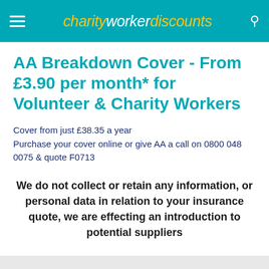charityworkerdiscounts
AA Breakdown Cover - From £3.90 per month* for Volunteer & Charity Workers
Cover from just £38.35 a year
Purchase your cover online or give AA a call on 0800 048 0075 & quote F0713
We do not collect or retain any information, or personal data in relation to your insurance quote, we are effecting an introduction to potential suppliers